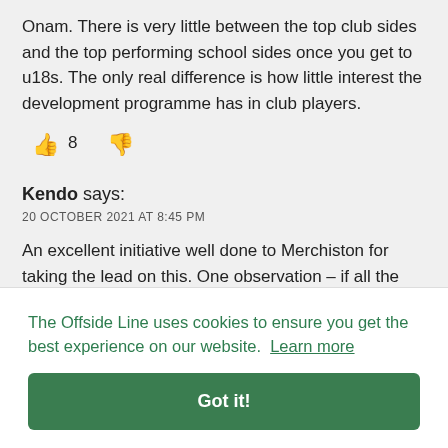Onam. There is very little between the top club sides and the top performing school sides once you get to u18s. The only real difference is how little interest the development programme has in club players.
👍 8  👎
Kendo says:
20 OCTOBER 2021 AT 8:45 PM
An excellent initiative well done to Merchiston for taking the lead on this. One observation – if all the teams were missing players presumably it was a level playing field? Well done
The Offside Line uses cookies to ensure you get the best experience on our website. Learn more
Got it!
20 OCTOBER 2021 AT 10:54 PM